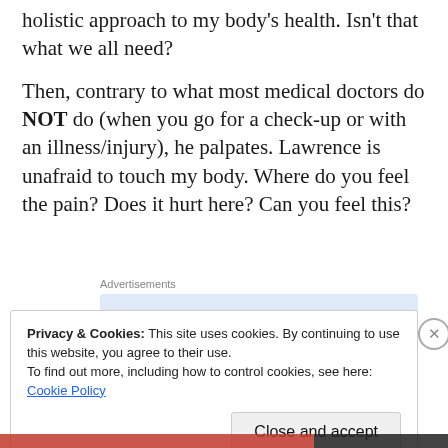holistic approach to my body's health. Isn't that what we all need?
Then, contrary to what most medical doctors do NOT do (when you go for a check-up or with an illness/injury), he palpates. Lawrence is unafraid to touch my body. Where do you feel the pain? Does it hurt here? Can you feel this?
[Figure (other): Advertisement banner: 'Build a writing habit. Post on the go.' with GET THE APP button and WordPress logo]
Privacy & Cookies: This site uses cookies. By continuing to use this website, you agree to their use.
To find out more, including how to control cookies, see here: Cookie Policy